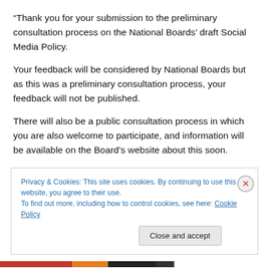“Thank you for your submission to the preliminary consultation process on the National Boards’ draft Social Media Policy.
Your feedback will be considered by National Boards but as this was a preliminary consultation process, your feedback will not be published.
There will also be a public consultation process in which you are also welcome to participate, and information will be available on the Board’s website about this soon.
Privacy & Cookies: This site uses cookies. By continuing to use this website, you agree to their use.
To find out more, including how to control cookies, see here: Cookie Policy